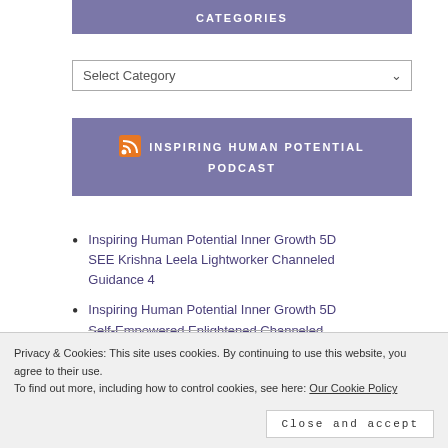CATEGORIES
Select Category
INSPIRING HUMAN POTENTIAL PODCAST
Inspiring Human Potential Inner Growth 5D SEE Krishna Leela Lightworker Channeled Guidance 4
Inspiring Human Potential Inner Growth 5D Self-Empowered Enlightened Channeled…
Privacy & Cookies: This site uses cookies. By continuing to use this website, you agree to their use. To find out more, including how to control cookies, see here: Our Cookie Policy
Close and accept